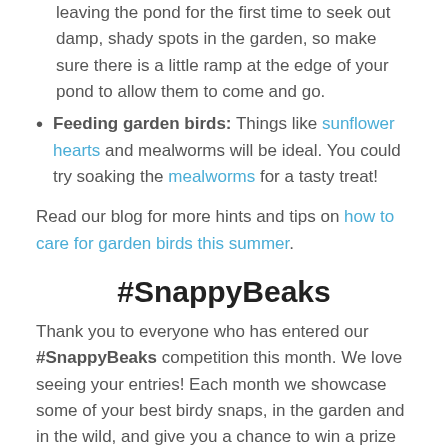leaving the pond for the first time to seek out damp, shady spots in the garden, so make sure there is a little ramp at the edge of your pond to allow them to come and go.
Feeding garden birds: Things like sunflower hearts and mealworms will be ideal. You could try soaking the mealworms for a tasty treat!
Read our blog for more hints and tips on how to care for garden birds this summer.
#SnappyBeaks
Thank you to everyone who has entered our #SnappyBeaks competition this month. We love seeing your entries! Each month we showcase some of your best birdy snaps, in the garden and in the wild, and give you a chance to win a prize in the process. We've had some great sightings amongst the entries this month, including a